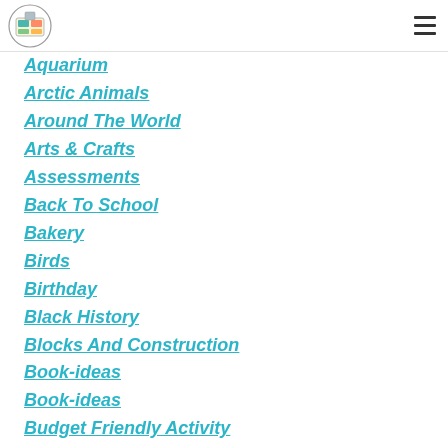Kids Printable Fun logo and hamburger menu
Aquarium
Arctic Animals
Around The World
Arts & Crafts
Assessments
Back To School
Bakery
Birds
Birthday
Black History
Blocks And Construction
Book-ideas
Book-ideas
Budget Friendly Activity
Calendar
Camping
Canada